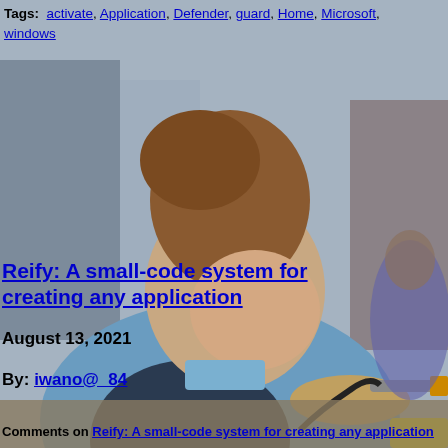Tags: activate, Application, Defender, guard, Home, Microsoft, windows
[Figure (photo): Young woman wearing safety goggles and a dark apron, working with tools at a workbench in what appears to be a technical workshop or laboratory setting.]
Reify: A small-code system for creating any application
August 13, 2021
By: iwano@_84
Comments on Reify: A small-code system for creating any application